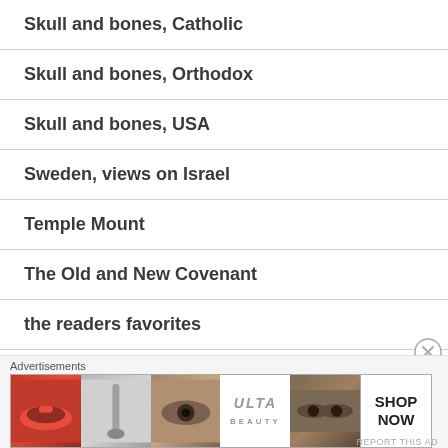Skull and bones, Catholic
Skull and bones, Orthodox
Skull and bones, USA
Sweden, views on Israel
Temple Mount
The Old and New Covenant
the readers favorites
[Figure (advertisement): ULTA Beauty advertisement with makeup images and SHOP NOW text]